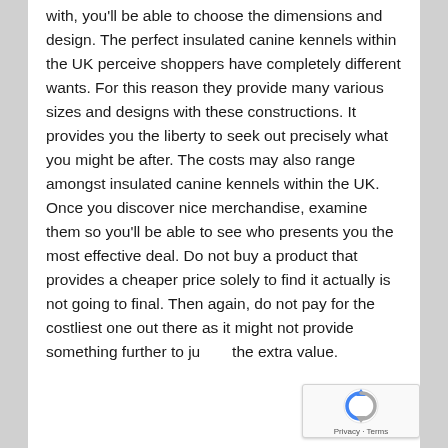with, you'll be able to choose the dimensions and design. The perfect insulated canine kennels within the UK perceive shoppers have completely different wants. For this reason they provide many various sizes and designs with these constructions. It provides you the liberty to seek out precisely what you might be after. The costs may also range amongst insulated canine kennels within the UK. Once you discover nice merchandise, examine them so you'll be able to see who presents you the most effective deal. Do not buy a product that provides a cheaper price solely to find it actually is not going to final. Then again, do not pay for the costliest one out there as it might not provide something further to justify the extra value.